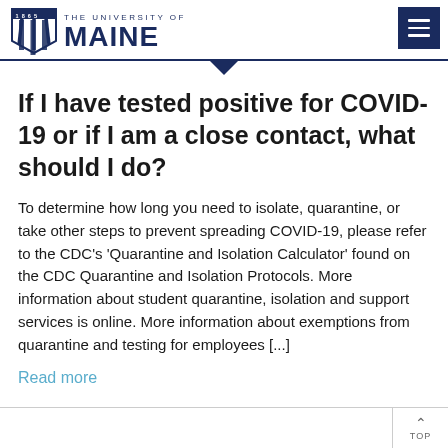1865 THE UNIVERSITY OF MAINE
If I have tested positive for COVID-19 or if I am a close contact, what should I do?
To determine how long you need to isolate, quarantine, or take other steps to prevent spreading COVID-19, please refer to the CDC’s ‘Quarantine and Isolation Calculator’ found on the CDC Quarantine and Isolation Protocols. More information about student quarantine, isolation and support services is online. More information about exemptions from quarantine and testing for employees [...]
Read more